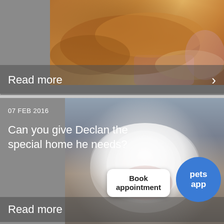[Figure (photo): Photo of a sleeping brown/golden dog lying on a colorful patterned background, partially visible, top card]
Read more
[Figure (photo): Photo of a white pit bull dog named Declan, smiling and looking at camera, bottom card]
07 FEB 2016
Can you give Declan the special home he needs?
Book appointment
pets app
Read more